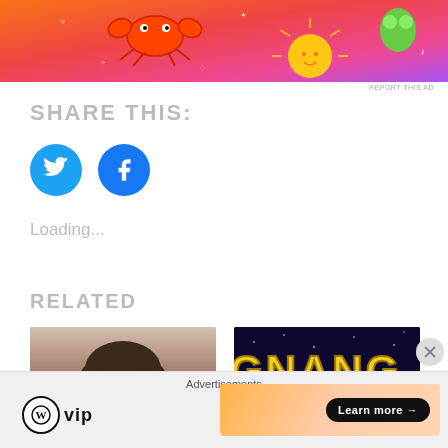[Figure (photo): Colorful advertisement banner with orange-red-pink gradient background featuring cartoon crab, sun, and character illustrations]
REPORT THIS AD
SHARE THIS:
[Figure (logo): Twitter bird icon in blue circle]
[Figure (logo): Facebook f icon in blue circle]
Loading...
RELATED
[Figure (photo): Selfie photo of a woman lying down looking at camera]
[Figure (photo): Dark blue image with yellow Star Wars style text showing partial letters GNANG and PTRI]
Advertisements
[Figure (logo): WordPress VIP logo]
[Figure (photo): Orange gradient advertisement banner with Learn more button]